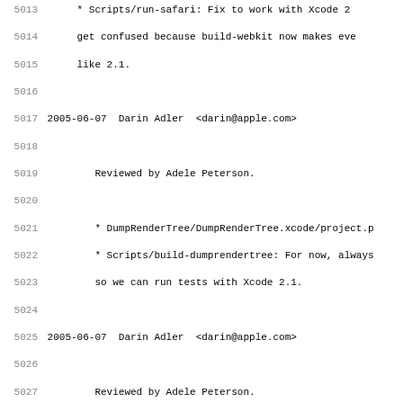5013  * Scripts/run-safari: Fix to work with Xcode 2
5014      get confused because build-webkit now makes eve
5015      like 2.1.
5016
5017 2005-06-07  Darin Adler  <darin@apple.com>
5018
5019      Reviewed by Adele Peterson.
5020
5021      * DumpRenderTree/DumpRenderTree.xcode/project.p
5022      * Scripts/build-dumprendertree: For now, always
5023      so we can run tests with Xcode 2.1.
5024
5025 2005-06-07  Darin Adler  <darin@apple.com>
5026
5027      Reviewed by Adele Peterson.
5028
5029      * Scripts/run-webkit-tests: Pass -L to find com
5030      layout-tests directory to include additional se
5031
5032 2005-06-07  Darin Adler  <darin@apple.com>
5033
5034      * checkout: Added license.
5035      * Scripts/build-dumprendertree: Ditto.
5036      * Scripts/run-webkit-tests: Ditto.
5037      * Scripts/update-webkit: Ditto.
5038
5039 2005-06-07  Darin Adler  <darin@apple.com>
5040
5041      Change by Toby Peterson <toby@opendarwin.org>.
5042      Reviewed by me.
5043
5044      * Scripts/build-webkit: Changes so you can buil
5045      * Scripts/run-safari: Ditto.